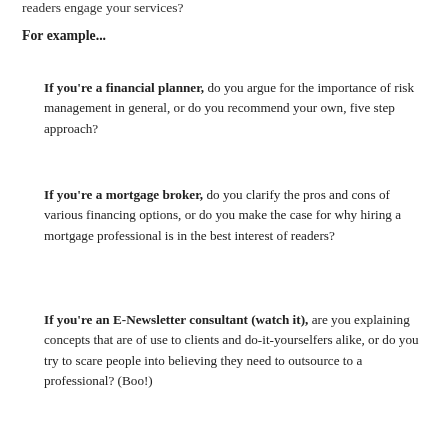readers engage your services?
For example...
If you're a financial planner, do you argue for the importance of risk management in general, or do you recommend your own, five step approach?
If you're a mortgage broker, do you clarify the pros and cons of various financing options, or do you make the case for why hiring a mortgage professional is in the best interest of readers?
If you're an E-Newsletter consultant (watch it), are you explaining concepts that are of use to clients and do-it-yourselfers alike, or do you try to scare people into believing they need to outsource to a professional? (Boo!)